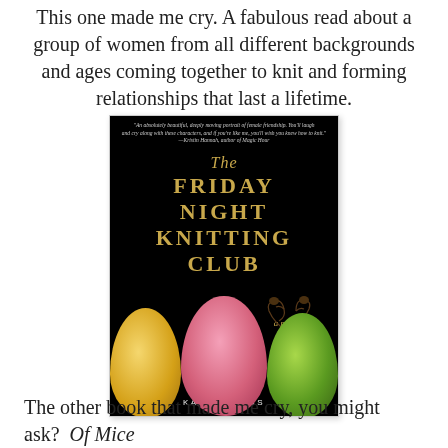This one made me cry. A fabulous read about a group of women from all different backgrounds and ages coming together to knit and forming relationships that last a lifetime.
[Figure (photo): Book cover of 'The Friday Night Knitting Club' by Kate Jacobs. Black background with gold title text in serif font, a decorative vine flourish, and three balls of yarn at the bottom in yellow, pink, and green. A blurb at the top reads: 'An absolutely beautiful, deeply moving portrait of female friendship. You'll laugh and cry along with these characters, and if you're like me, you'll wish you knew how to knit.' — Kristin Hannah, author of Magic Hour.]
The other book that made me cry, you might ask?  Of Mice and Men.